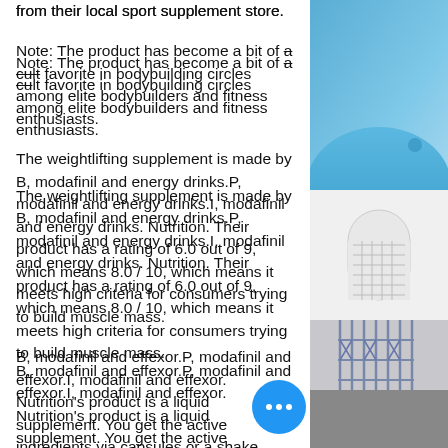from their local sport supplement store.
Note: The product has become a bit of a cult favorite in bodybuilding circles among elite bodybuilders and fitness enthusiasts.
The weightlifting supplement is made by B, modafinil and energy drinks.P, modafinil and energy drinks.I, modafinil and energy drinks. Nutrition. Their product has a rating of 6.0 out of 9, which means 8.0 / 10, which means it meets high criteria for consumers trying to build muscle mass.
B, modafinil and effexor.P, modafinil and effexor.I, modafinil and effexor. Nutrition's product is a liquid supplement. You get the active ingredients via capsules or a shake, modafinil and atomoxetine. They do not to the U.S. and have been available in countries around the world, however they
[Figure (photo): Right-side panel showing a blue-sky background with a blue dome (Santorini-style architecture) in the upper portion, a white arched window/door with lattice detail in the middle, and decorative wrought-iron gate with stone/pebble ground in the lower portion.]